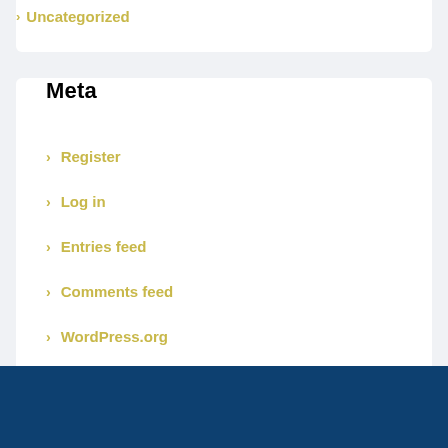Uncategorized
Meta
Register
Log in
Entries feed
Comments feed
WordPress.org